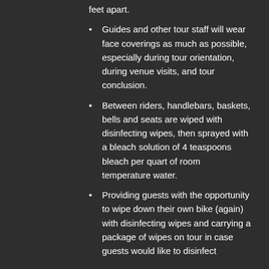feet apart.
Guides and other tour staff will wear face coverings as much as possible, especially during tour orientation, during venue visits, and tour conclusion.
Between riders, handlebars, baskets, bells and seats are wiped with disinfecting wipes, then sprayed with a bleach solution of 4 teaspoons bleach per quart of room temperature water.
Providing guests with the opportunity to wipe down their own bike (again) with disinfecting wipes and carrying a package of wipes on tour in case guests would like to disinfect